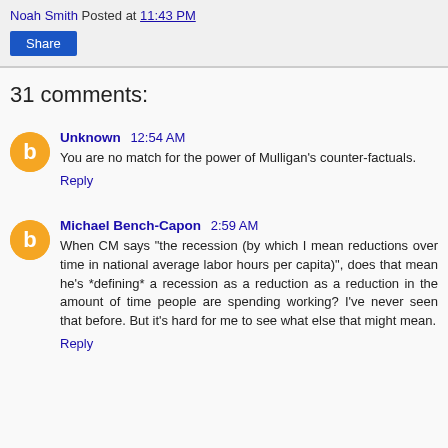Noah Smith Posted at 11:43 PM
Share
31 comments:
Unknown 12:54 AM
You are no match for the power of Mulligan's counter-factuals.
Reply
Michael Bench-Capon 2:59 AM
When CM says "the recession (by which I mean reductions over time in national average labor hours per capita)", does that mean he's *defining* a recession as a reduction as a reduction in the amount of time people are spending working? I've never seen that before. But it's hard for me to see what else that might mean.
Reply